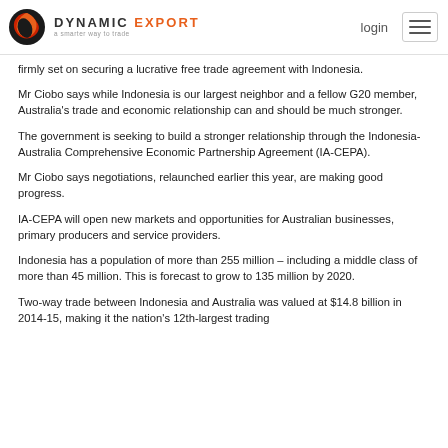DYNAMIC EXPORT — login
firmly set on securing a lucrative free trade agreement with Indonesia.
Mr Ciobo says while Indonesia is our largest neighbor and a fellow G20 member, Australia's trade and economic relationship can and should be much stronger.
The government is seeking to build a stronger relationship through the Indonesia-Australia Comprehensive Economic Partnership Agreement (IA-CEPA).
Mr Ciobo says negotiations, relaunched earlier this year, are making good progress.
IA-CEPA will open new markets and opportunities for Australian businesses, primary producers and service providers.
Indonesia has a population of more than 255 million – including a middle class of more than 45 million. This is forecast to grow to 135 million by 2020.
Two-way trade between Indonesia and Australia was valued at $14.8 billion in 2014-15, making it the nation's 12th-largest trading